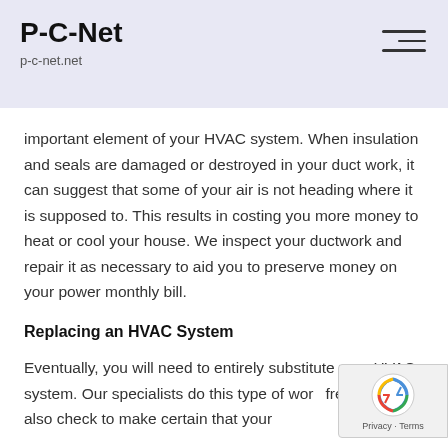P-C-Net
p-c-net.net
important element of your HVAC system. When insulation and seals are damaged or destroyed in your duct work, it can suggest that some of your air is not heading where it is supposed to. This results in costing you more money to heat or cool your house. We inspect your ductwork and repair it as necessary to aid you to preserve money on your power monthly bill.
Replacing an HVAC System
Eventually, you will need to entirely substitute your HVAC system. Our specialists do this type of work frequently. We also check to make certain that your